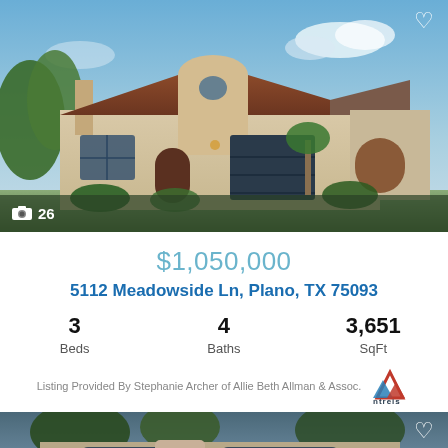[Figure (photo): Exterior photo of a Mediterranean-style single-story home with terracotta tile roof, stucco walls, arched windows, and palm trees. Blue sky with clouds in background. Photo count badge shows 26 photos.]
$1,050,000
5112 Meadowside Ln, Plano, TX 75093
3 Beds  4 Baths  3,651 SqFt
Listing Provided By Stephanie Archer of Allie Beth Allman & Assoc.
[Figure (photo): Exterior photo of a stone and brick two-story home with arched garage doors and trees in background at dusk.]